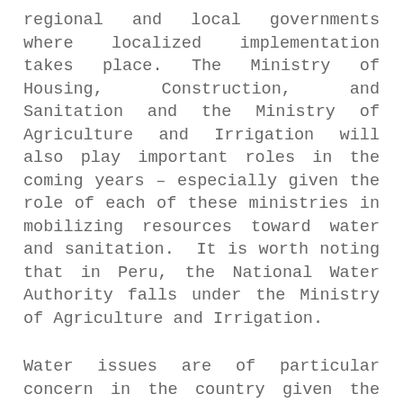regional and local governments where localized implementation takes place. The Ministry of Housing, Construction, and Sanitation and the Ministry of Agriculture and Irrigation will also play important roles in the coming years – especially given the role of each of these ministries in mobilizing resources toward water and sanitation.  It is worth noting that in Peru, the National Water Authority falls under the Ministry of Agriculture and Irrigation.
Water issues are of particular concern in the country given the recent impacts of flooding caused by El Niño and the projections for increased droughts in the country with the increasing impacts of